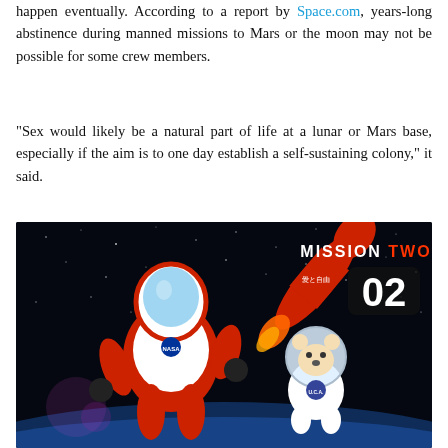happen eventually. According to a report by Space.com, years-long abstinence during manned missions to Mars or the moon may not be possible for some crew members.
“Sex would likely be a natural part of life at a lunar or Mars base, especially if the aim is to one day establish a self-sustaining colony,” it said.
[Figure (illustration): Digital illustration showing two cartoon astronaut figures floating in space against a starry black background. On the left is a larger red-and-white robot/astronaut figure. On the right is a smaller white bear-like astronaut in a bubble helmet. In the background is a red rocket with Japanese text. Upper right shows text 'MISSION TWO' and '02'.]